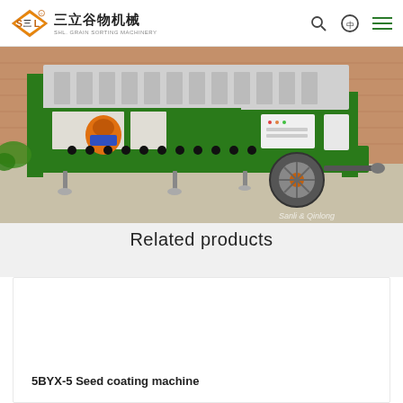三立谷物机械 SHL. GRAIN SORTING MACHINERY
[Figure (photo): Green grain sorting/seed coating machine on wheels with orange motor component, parked on concrete surface against brick wall background. Watermark reads 'Sanli & Qinlong'.]
Related products
5BYX-5 Seed coating machine